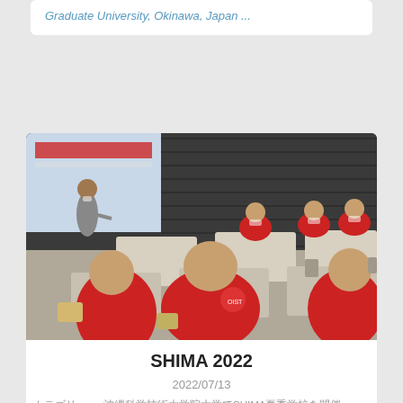Graduate University, Okinawa, Japan ...
[Figure (photo): Classroom scene with students in red shirts seated at desks, facing an instructor presenting at the front of the room. The room has dark paneled walls and a projection screen.]
SHIMA 2022
2022/07/13
カテゴリー　　　沖縄科学技術大学院大学でSHIMA夏季学校を開催　沖縄の高校生があなた　♦...